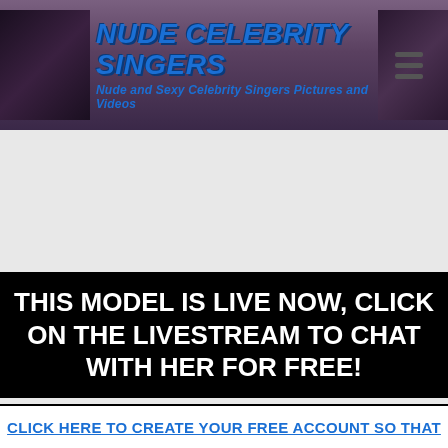NUDE CELEBRITY SINGERS — Nude and Sexy Celebrity Singers Pictures and Videos
THIS MODEL IS LIVE NOW, CLICK ON THE LIVESTREAM TO CHAT WITH HER FOR FREE!
[Figure (other): Grey placeholder area for livestream content]
CLICK HERE TO CREATE YOUR FREE ACCOUNT SO THAT